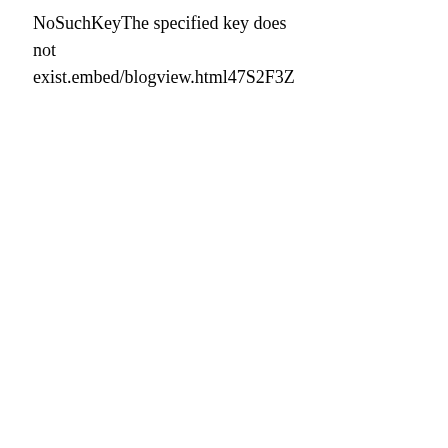NoSuchKeyThe specified key does not exist.embed/blogview.html47S2F3Z